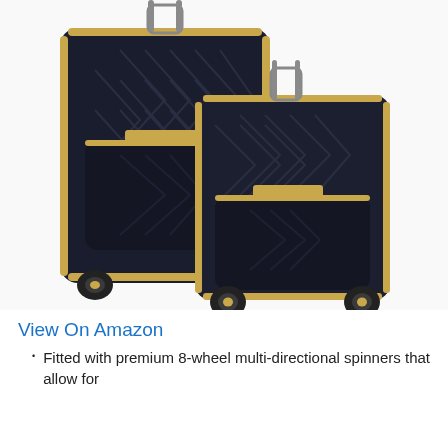[Figure (photo): Two navy blue soft-shell luggage suitcases with chevron quilted pattern and gold-tone accents, featuring 8-wheel spinners. The larger suitcase is on the left and the smaller carry-on is in front on the right. Both have telescoping handles extended.]
View On Amazon
Fitted with premium 8-wheel multi-directional spinners that allow for